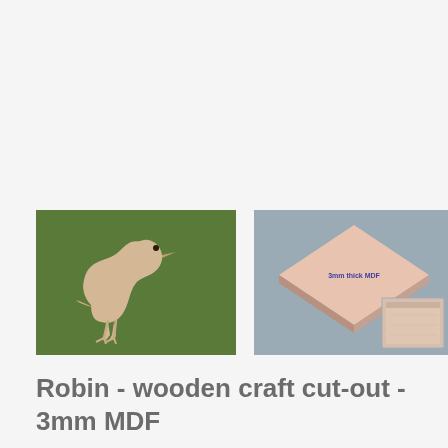[Figure (photo): Robin bird silhouette cut-out shape in light tan/MDF color against a dark green background]
[Figure (photo): MDF square pieces stacked at an angle on a grey surface, showing thickness and surface texture, with a small corner detail inset]
Robin - wooden craft cut-out - 3mm MDF
£3.85